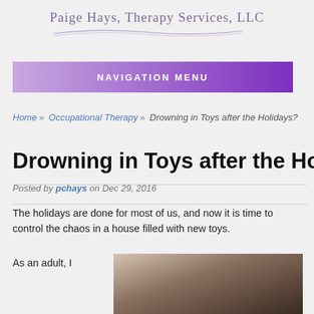Paige Hays, Therapy Services, LLC
NAVIGATION MENU
Home » Occupational Therapy » Drowning in Toys after the Holidays?
Drowning in Toys after the Holidays?
Posted by pchays on Dec 29, 2016
The holidays are done for most of us, and now it is time to control the chaos in a house filled with new toys.
As an adult, I
[Figure (photo): Photograph of toys or related holiday items]